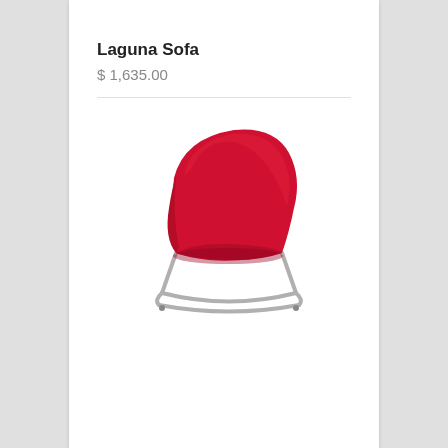Laguna Sofa
$ 1,635.00
[Figure (photo): Red Laguna lounge chair/sofa with curved upholstered seat and chrome cantilever sled base, viewed from a slight angle.]